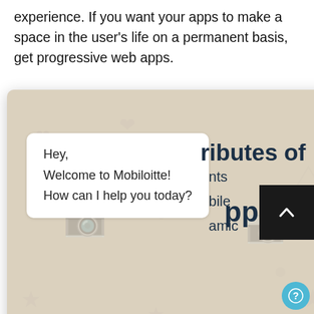experience. If you want your apps to make a space in the user's life on a permanent basis, get progressive web apps.
[Figure (screenshot): WhatsApp-style chat widget showing a welcome message bubble: 'Hey, Welcome to Mobiloitte! How can I help you today?' with a close button, decorative WhatsApp background pattern, and a message input bar with a green send button at the bottom.]
ributes of
pps
nts
pile
amic